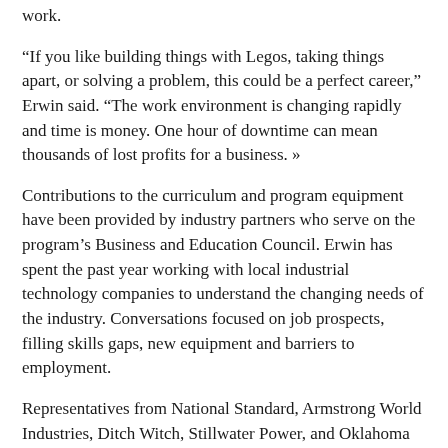work.
“If you like building things with Legos, taking things apart, or solving a problem, this could be a perfect career,” Erwin said. “The work environment is changing rapidly and time is money. One hour of downtime can mean thousands of lost profits for a business. »
Contributions to the curriculum and program equipment have been provided by industry partners who serve on the program’s Business and Education Council. Erwin has spent the past year working with local industrial technology companies to understand the changing needs of the industry. Conversations focused on job prospects, filling skills gaps, new equipment and barriers to employment.
Representatives from National Standard, Armstrong World Industries, Ditch Witch, Stillwater Power, and Oklahoma Gas & Electric’s Sooner Power Plant worked with Erwin to develop the industrial technology career path. In addition to helping him identify equipment and content for his new program, several committee members have offered internships to students enrolled in current energy and electricity courses.
“Industrial technicians are essential to the operation and growth of the manufacturing industry,” Erwin said. “The technicians make